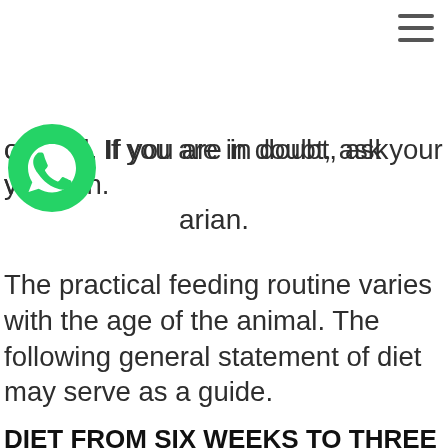[Figure (logo): Hamburger menu icon (three horizontal lines) in top right corner]
of food. If you are in doubt, ask your veterinarian.
[Figure (logo): WhatsApp logo — green circle with white phone receiver icon]
The practical feeding routine varies with the age of the animal. The following general statement of diet may serve as a guide.
DIET FROM SIX WEEKS TO THREE MONTHS OF AGE MORNING:
Milk; or a mixture of milk and pablum; or canned or dry dog food.